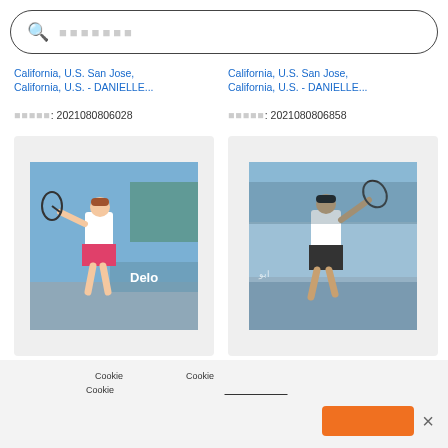xxxxxxx (search placeholder)
California, U.S. San Jose, California, U.S. - DANIELLE...
xxxxxx: 2021080806028
California, U.S. San Jose, California, U.S. - DANIELLE...
xxxxxx: 2021080806858
[Figure (photo): Tennis player in white top and pink skirt hitting a shot, with Deloitte signage visible in background]
[Figure (photo): Tennis player in white top swinging racket, outdoor court with spectators in background]
xxxxxxxxxxxxxxxxxxxxxxCookiexxxxxxxxxxxxxxCookiexxxxxxxxxxxxxxxxxxxxxxxxxxxxxxxxxxxxxxxxxxxxxxxxxxxxxxxxxxxxxxxxxxxxxxxxxxxxxxCookiexxxxxxxxxxxxxxxxxxxxxxxx xxxxxxxxx